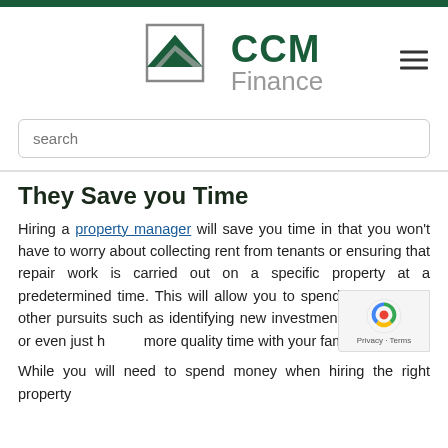[Figure (logo): CCM Finance logo with green house/roof graphic and text 'CCM Finance']
They Save you Time
Hiring a property manager will save you time in that you won't have to worry about collecting rent from tenants or ensuring that repair work is carried out on a specific property at a predetermined time. This will allow you to spend your time on other pursuits such as identifying new investment opportunities or even just having more quality time with your family.
While you will need to spend money when hiring the right property